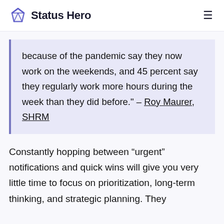Status Hero
because of the pandemic say they now work on the weekends, and 45 percent say they regularly work more hours during the week than they did before." – Roy Maurer, SHRM
Constantly hopping between “urgent” notifications and quick wins will give you very little time to focus on prioritization, long-term thinking, and strategic planning. They